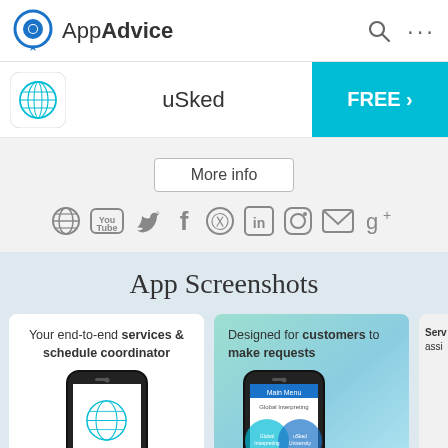AppAdvice
[Figure (screenshot): AppAdvice app page for uSked showing More info button, social media icons (globe, YouTube, Twitter, Facebook, Pinterest, LinkedIn, Instagram, email, Google+), App Screenshots section heading, and two screenshot cards: 'Your end-to-end services & schedule coordinator' and 'Designed for customers to make requests' with phone mockups.]
uSked
FREE >
More info
App Screenshots
Your end-to-end services & schedule coordinator
Designed for customers to make requests